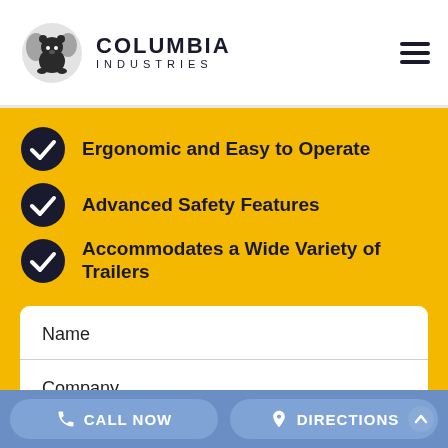[Figure (logo): Columbia Industries logo with bear/world graphic and company name]
Ergonomic and Easy to Operate
Advanced Safety Features
Accommodates a Wide Variety of Trailers
Name
Company
Email
CALL NOW   DIRECTIONS